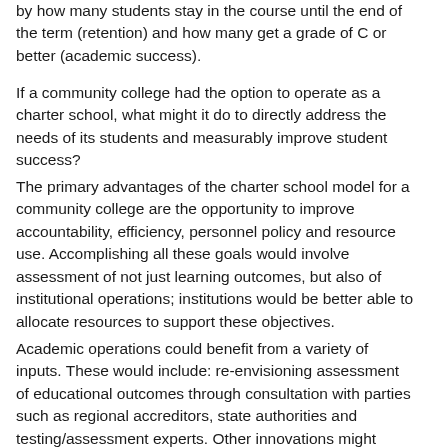by how many students stay in the course until the end of the term (retention) and how many get a grade of C or better (academic success).
If a community college had the option to operate as a charter school, what might it do to directly address the needs of its students and measurably improve student success?
The primary advantages of the charter school model for a community college are the opportunity to improve accountability, efficiency, personnel policy and resource use. Accomplishing all these goals would involve assessment of not just learning outcomes, but also of institutional operations; institutions would be better able to allocate resources to support these objectives.
Academic operations could benefit from a variety of inputs. These would include: re-envisioning assessment of educational outcomes through consultation with parties such as regional accreditors, state authorities and testing/assessment experts. Other innovations might include hiring institutional staff such as a dean of assessment to design cutting-edge entry and...